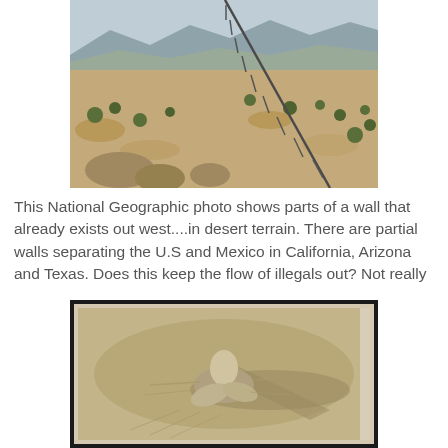[Figure (photo): Aerial photo (National Geographic) of a border wall cutting through desert terrain with scrubby vegetation, rocks, and mountains in the background — the U.S.–Mexico border fence running across arid landscape.]
This National Geographic photo shows parts of a wall that already exists out west....in desert terrain. There are partial walls separating the U.S and Mexico in California, Arizona and Texas. Does this keep the flow of illegals out? Not really
[Figure (photo): A framed photograph or artwork showing a person crawling or lying face-down in sand, leaving imprints and drag marks, casting a long shadow — evoking themes of border crossing through desert.]